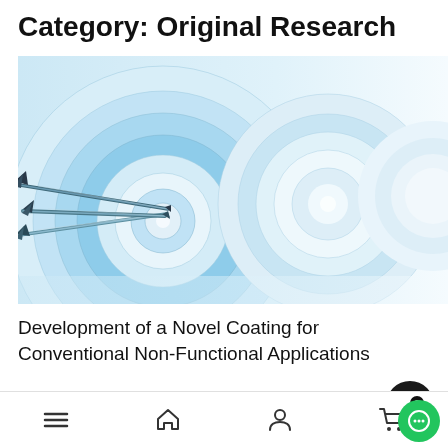Category: Original Research
[Figure (photo): Close-up photo of three arrows hitting the bullseye of archery targets. The targets are blue and white concentric circles, and the arrows are dark-colored with fletching visible. The image has a shallow depth of field with multiple targets blurred in the background.]
Development of a Novel Coating for Conventional Non-Functional Applications
January 31, 2022
Navigation cut-off text (partially visible)